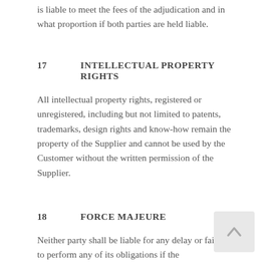is liable to meet the fees of the adjudication and in what proportion if both parties are held liable.
17	INTELLECTUAL PROPERTY RIGHTS
All intellectual property rights, registered or unregistered, including but not limited to patents, trademarks, design rights and know-how remain the property of the Supplier and cannot be used by the Customer without the written permission of the Supplier.
18	FORCE MAJEURE
Neither party shall be liable for any delay or failure to perform any of its obligations if the